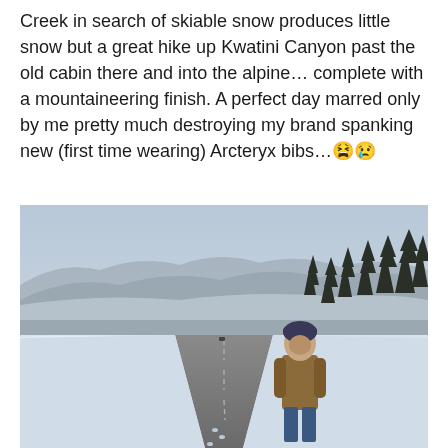Creek in search of skiable snow produces little snow but a great hike up Kwatini Canyon past the old cabin there and into the alpine… complete with a mountaineering finish. A perfect day marred only by me pretty much destroying my brand spanking new (first time wearing) Arcteryx bibs…😫😢
[Figure (photo): Person standing on a snowy highway with mist-covered mountains and pine trees in the background, wearing a brown jacket and dark beanie hat]